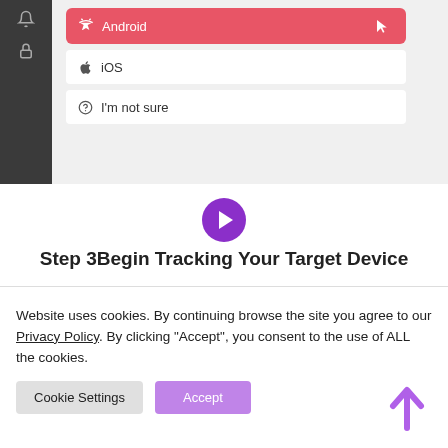[Figure (screenshot): Screenshot of a mobile OS selection UI showing Android selected (highlighted red), iOS option, and I'm not sure option, with a dark sidebar on the left containing icons]
[Figure (other): Purple circle with white right-pointing arrow icon]
Step 3Begin Tracking Your Target Device
Website uses cookies. By continuing browse the site you agree to our Privacy Policy. By clicking “Accept”, you consent to the use of ALL the cookies.